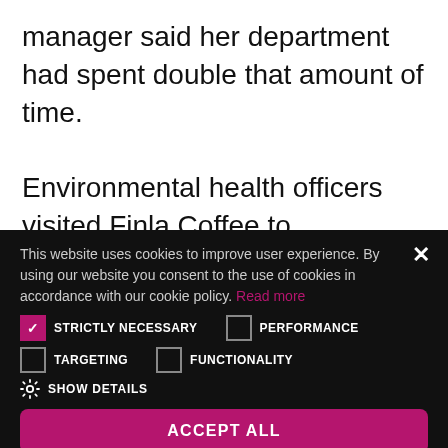manager said her department had spent double that amount of time.
Environmental health officers visited Finla Coffee to
[Figure (screenshot): Cookie consent overlay popup on a dark background. Contains text about cookie usage, checkboxes for Strictly Necessary (checked), Performance, Targeting, Functionality, a Show Details option, and two buttons: ACCEPT ALL and DECLINE ALL. A close (X) button is in the top right.]